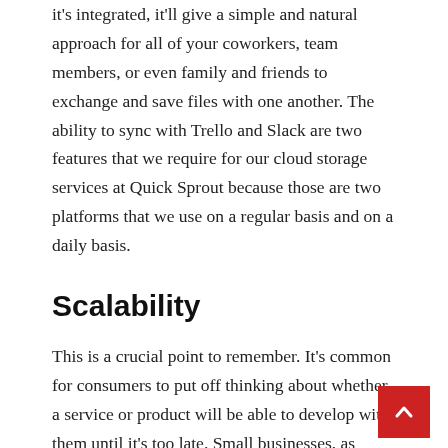it's integrated, it'll give a simple and natural approach for all of your coworkers, team members, or even family and friends to exchange and save files with one another. The ability to sync with Trello and Slack are two features that we require for our cloud storage services at Quick Sprout because those are two platforms that we use on a regular basis and on a daily basis.
Scalability
This is a crucial point to remember. It's common for consumers to put off thinking about whether a service or product will be able to develop with them until it's too late. Small businesses, as opposed to large corporations such as Google, will not require